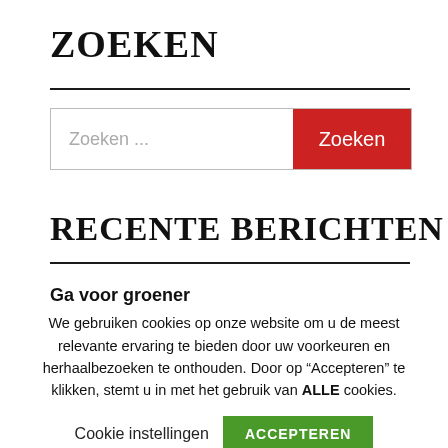ZOEKEN
[Figure (other): Search bar with text input placeholder 'Zoeken ...' and a red 'Zoeken' button]
RECENTE BERICHTEN
Ga voor groener
We gebruiken cookies op onze website om u de meest relevante ervaring te bieden door uw voorkeuren en herhaalbezoeken te onthouden. Door op “Accepteren” te klikken, stemt u in met het gebruik van ALLE cookies.
Cookie instellingen
ACCEPTEREN